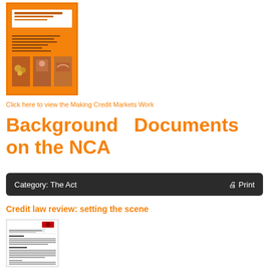[Figure (illustration): Orange book cover for 'Making Credit Markets Work' policy framework document with three photos at the bottom]
Click here to view the Making Credit Markets Work
Background Documents on the NCA
Category: The Act   🖨 Print
Credit law review: setting the scene
[Figure (screenshot): Thumbnail preview of the 'Credit Law Review: Setting the Scene' document with introductory text sections]